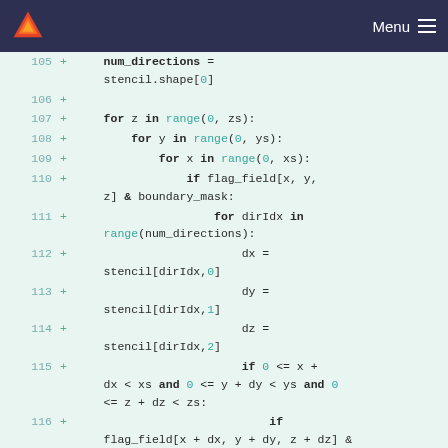Menu
[Figure (screenshot): GitLab code diff view showing Python code lines 105-116 with additions marked by '+' signs. Code shows nested for loops iterating over z, y, x ranges and checking flag_field with boundary_mask, then computing dx, dy, dz from stencil array and checking bounds.]